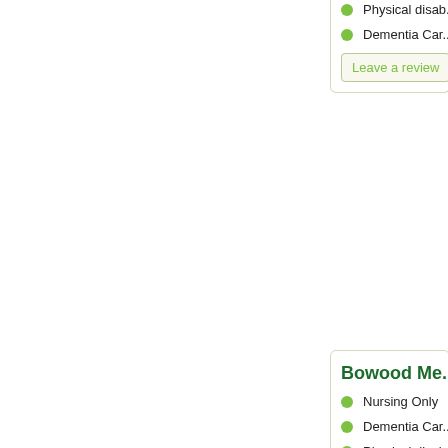Physical disab...
Dementia Car...
Leave a review
Bowood Me...
Nursing Only
Dementia Car...
Physical disab...
Leave a review
Bricklehamp...
Nursing Only